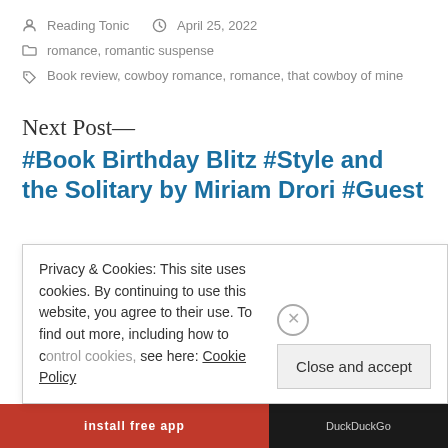Reading Tonic   April 25, 2022
romance, romantic suspense
Book review, cowboy romance, romance, that cowboy of mine
Next Post—
#Book Birthday Blitz #Style and the Solitary by Miriam Drori #Guest
Privacy & Cookies: This site uses cookies. By continuing to use this website, you agree to their use. To find out more, including how to control cookies, see here: Cookie Policy
Close and accept